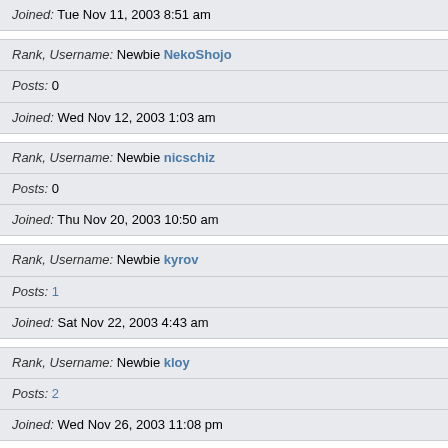| Joined: Tue Nov 11, 2003 8:51 am |
| Rank, Username: Newbie NekoShojo |
| Posts: 0 |
| Joined: Wed Nov 12, 2003 1:03 am |
| Rank, Username: Newbie nicschiz |
| Posts: 0 |
| Joined: Thu Nov 20, 2003 10:50 am |
| Rank, Username: Newbie kyrov |
| Posts: 1 |
| Joined: Sat Nov 22, 2003 4:43 am |
| Rank, Username: Newbie kloy |
| Posts: 2 |
| Joined: Wed Nov 26, 2003 11:08 pm |
| Rank, Username: Newbie GreenHatSteve |
| Posts: 0 |
| Joined: Sat Nov 29, 2003 8:37 pm |
44053 users  1  2  3  4  5  ...  735